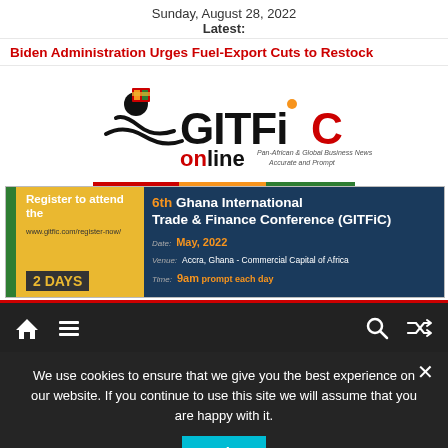Sunday, August 28, 2022
Latest:
Biden Administration Urges Fuel-Export Cuts to Restock
[Figure (logo): GITFiC online logo - Pan-African & Global Business News, Accurate and Prompt]
[Figure (infographic): Register to attend the 6th Ghana International Trade & Finance Conference (GITFiC). Date: May, 2022. Venue: Accra, Ghana - Commercial Capital of Africa. Time: 9am prompt each day. www.gitfic.com/register-now/ 2 DAYS]
[Figure (screenshot): Navigation bar with home, menu, search and shuffle icons on dark background]
We use cookies to ensure that we give you the best experience on our website. If you continue to use this site we will assume that you are happy with it.